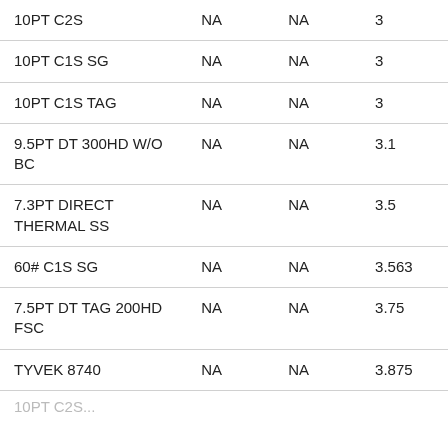| 10PT C2S | NA | NA | 3 |
| 10PT C1S SG | NA | NA | 3 |
| 10PT C1S TAG | NA | NA | 3 |
| 9.5PT DT 300HD W/O BC | NA | NA | 3.1 |
| 7.3PT DIRECT THERMAL SS | NA | NA | 3.5 |
| 60# C1S SG | NA | NA | 3.563 |
| 7.5PT DT TAG 200HD FSC | NA | NA | 3.75 |
| TYVEK 8740 | NA | NA | 3.875 |